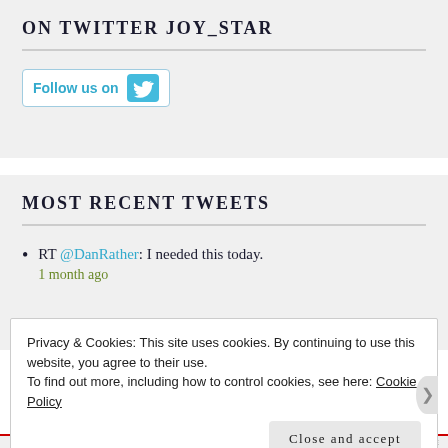ON TWITTER JOY_STAR
[Figure (other): Follow us on Twitter button with Twitter bird icon]
MOST RECENT TWEETS
RT @DanRather: I needed this today.
1 month ago
Privacy & Cookies: This site uses cookies. By continuing to use this website, you agree to their use.
To find out more, including how to control cookies, see here: Cookie Policy
Close and accept